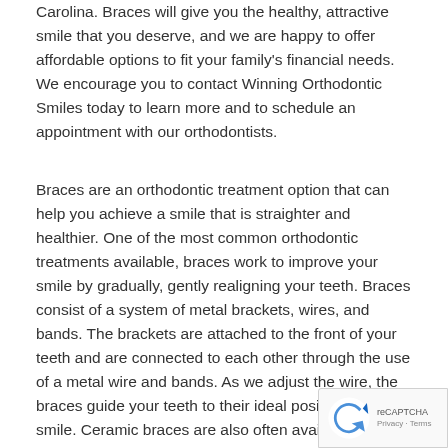Carolina. Braces will give you the healthy, attractive smile that you deserve, and we are happy to offer affordable options to fit your family's financial needs. We encourage you to contact Winning Orthodontic Smiles today to learn more and to schedule an appointment with our orthodontists.
Braces are an orthodontic treatment option that can help you achieve a smile that is straighter and healthier. One of the most common orthodontic treatments available, braces work to improve your smile by gradually, gently realigning your teeth. Braces consist of a system of metal brackets, wires, and bands. The brackets are attached to the front of your teeth and are connected to each other through the use of a metal wire and bands. As we adjust the wire, the braces guide your teeth to their ideal positions in your smile. Ceramic braces are also often available, which are the color as your teeth for a more discreet orthodontic option.
[Figure (logo): reCAPTCHA badge with Privacy and Terms text]